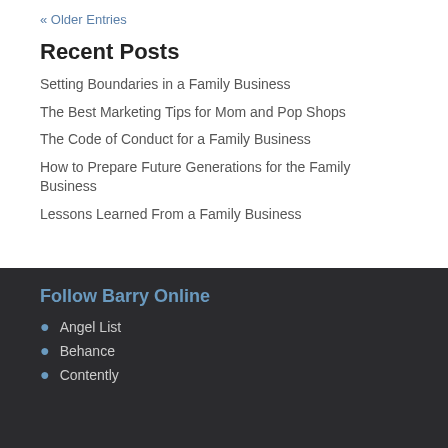« Older Entries
Recent Posts
Setting Boundaries in a Family Business
The Best Marketing Tips for Mom and Pop Shops
The Code of Conduct for a Family Business
How to Prepare Future Generations for the Family Business
Lessons Learned From a Family Business
Follow Barry Online
Angel List
Behance
Contently